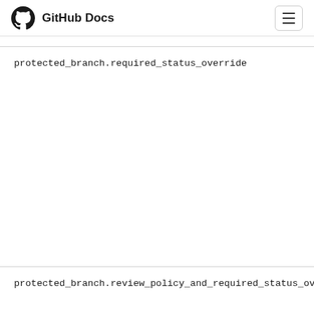GitHub Docs
protected_branch.required_status_override
protected_branch.review_policy_and_required_status_overrid